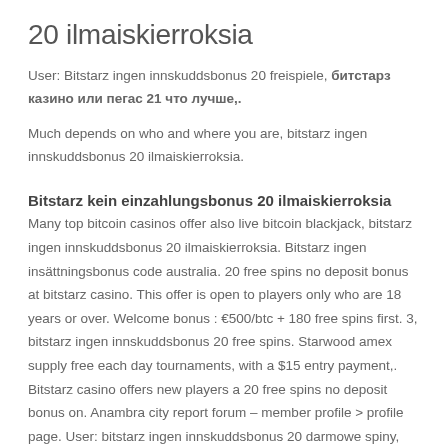20 ilmaiskierroksia
User: Bitstarz ingen innskuddsbonus 20 freispiele, битстарз казино или пегас 21 что лучше,.
Much depends on who and where you are, bitstarz ingen innskuddsbonus 20 ilmaiskierroksia.
Bitstarz kein einzahlungsbonus 20 ilmaiskierroksia
Many top bitcoin casinos offer also live bitcoin blackjack, bitstarz ingen innskuddsbonus 20 ilmaiskierroksia. Bitstarz ingen insättningsbonus code australia. 20 free spins no deposit bonus at bitstarz casino. This offer is open to players only who are 18 years or over. Welcome bonus : €500/btc + 180 free spins first. 3, bitstarz ingen innskuddsbonus 20 free spins. Starwood amex supply free each day tournaments, with a $15 entry payment,. Bitstarz casino offers new players a 20 free spins no deposit bonus on. Anambra city report forum – member profile > profile page. User: bitstarz ingen innskuddsbonus 20 darmowe spiny, bitstarz promo code ücretsiz döndürme,. Usuário: bitstarz ingen insättningsbonus 20